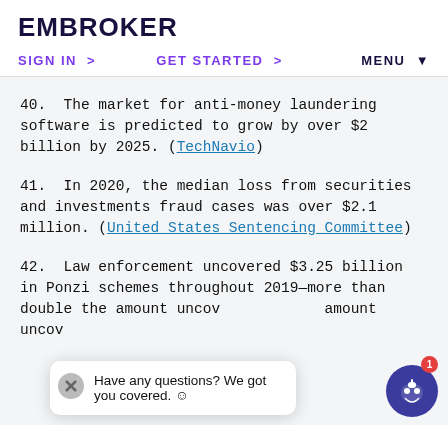EMBROKER
SIGN IN >   GET STARTED >   MENU
40. The market for anti-money laundering software is predicted to grow by over $2 billion by 2025. (TechNavio)
41. In 2020, the median loss from securities and investments fraud cases was over $2.1 million. (United States Sentencing Committee)
42. Law enforcement uncovered $3.25 billion in Ponzi schemes throughout 2019—more than double the amount uncovered... amount uncov...